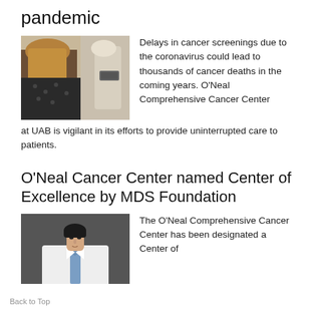pandemic
[Figure (photo): A woman seen from behind at a mammography machine in a medical setting.]
Delays in cancer screenings due to the coronavirus could lead to thousands of cancer deaths in the coming years. O'Neal Comprehensive Cancer Center at UAB is vigilant in its efforts to provide uninterrupted care to patients.
O'Neal Cancer Center named Center of Excellence by MDS Foundation
[Figure (photo): Portrait of a male doctor in a white coat and tie against a grey background.]
The O'Neal Comprehensive Cancer Center has been designated a Center of Excellence by the...
Back to Top